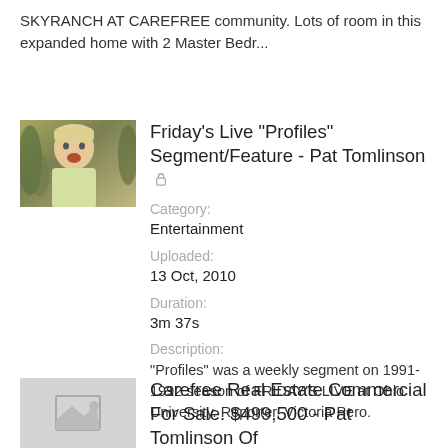SKYRANCH AT CAREFREE community. Lots of room in this expanded home with 2 Master Bedr...
[Figure (photo): Thumbnail photo of a person with short blonde hair, mouth open, in front of plants]
Friday's Live "Profiles" Segment/Feature - Pat Tomlinson 🔒
Category:
Entertainment
Uploaded:
13 Oct, 2010
Duration:
3m 37s
Description:
"Profiles" was a weekly segment on 1991-1992 season of FRIDAY'S LIVE at Ohio University. Reporter, Victoria Pero.
[Figure (photo): Gray placeholder thumbnail with mountain/image icon]
Carefree Real Estate Commercial For Sale. $499,500 - Pat Tomlinson Of Sonorandesertlifestyles.com 🔒